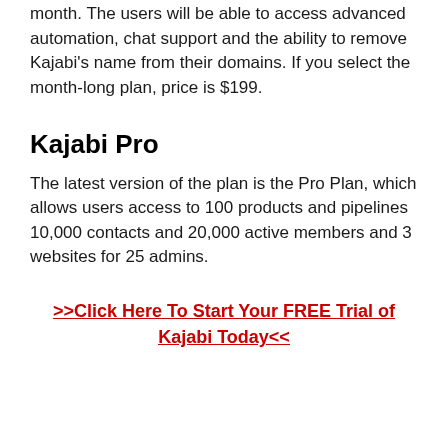month. The users will be able to access advanced automation, chat support and the ability to remove Kajabi’s name from their domains. If you select the month-long plan, price is $199.
Kajabi Pro
The latest version of the plan is the Pro Plan, which allows users access to 100 products and pipelines 10,000 contacts and 20,000 active members and 3 websites for 25 admins.
>>Click Here To Start Your FREE Trial of Kajabi Today<<